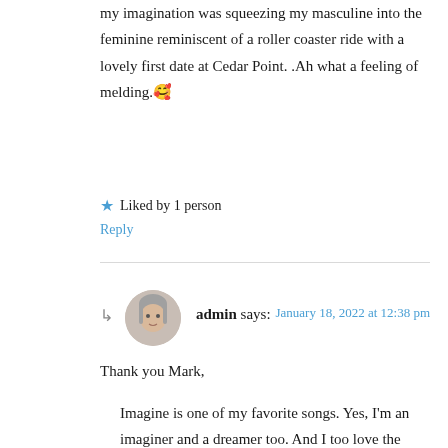my imagination was squeezing my masculine into the feminine reminiscent of a roller coaster ride with a lovely first date at Cedar Point. .Ah what a feeling of melding.🥰
★ Liked by 1 person
Reply
admin says:
January 18, 2022 at 12:38 pm
Thank you Mark,
Imagine is one of my favorite songs. Yes, I'm an imaginer and a dreamer too. And I too love the feeling of melding with my inner opposites. The